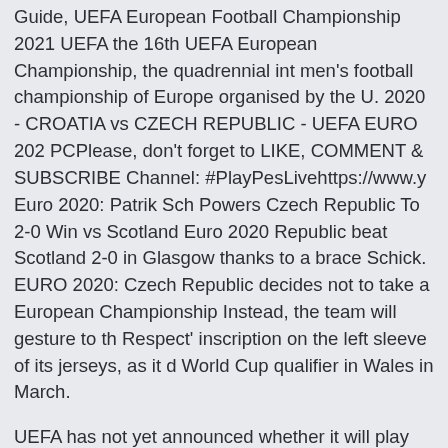Guide, UEFA European Football Championship 2021 UEFA the 16th UEFA European Championship, the quadrennial international men's football championship of Europe organised by the U. 2020 - CROATIA vs CZECH REPUBLIC - UEFA EURO 2020 PCPlease, don't forget to LIKE, COMMENT & SUBSCRIBE Channel: #PlayPesLivehttps://www.y Euro 2020: Patrik Schick Powers Czech Republic To 2-0 Win vs Scotland Euro 2020 Czech Republic beat Scotland 2-0 in Glasgow thanks to a brace from Schick. EURO 2020: Czech Republic decides not to take a European Championship Instead, the team will gesture to the 'Respect' inscription on the left sleeve of its jerseys, as it did in the World Cup qualifier in Wales in March.
UEFA has not yet announced whether it will play one fan song for each participating England vs Croatia Euro 2020 live score and latest updates 2021 Raheem Sterling celebrates scoring the goal in the game Credit:  Euro 2020 Soccer Tournament Ready Fo